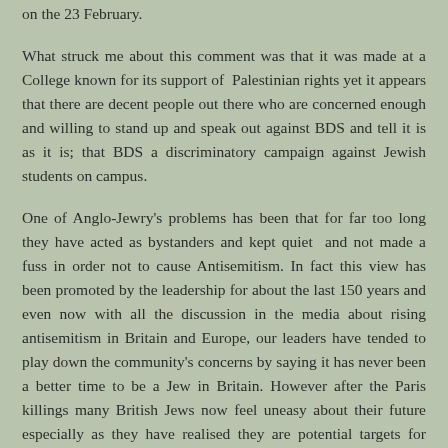on the 23 February.
What struck me about this comment was that it was made at a College known for its support of  Palestinian rights yet it appears that there are decent people out there who are concerned enough and willing to stand up and speak out against BDS and tell it is as it is; that BDS a discriminatory campaign against Jewish students on campus.
One of Anglo-Jewry's problems has been that for far too long they have acted as bystanders and kept quiet  and not made a fuss in order not to cause Antisemitism. In fact this view has been promoted by the leadership for about the last 150 years and even now with all the discussion in the media about rising antisemitism in Britain and Europe, our leaders have tended to play down the community's concerns by saying it has never been a better time to be a Jew in Britain. However after the Paris killings many British Jews now feel uneasy about their future especially as they have realised they are potential targets for extremists.